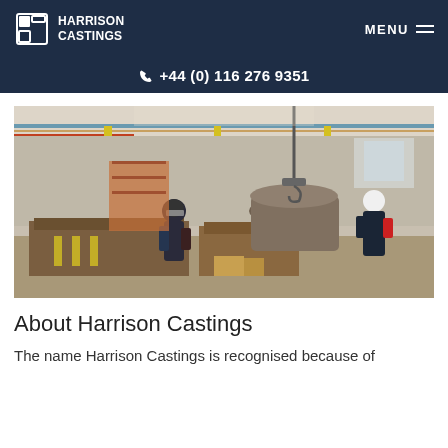HARRISON CASTINGS | MENU
+44 (0) 116 276 9351
[Figure (photo): Two workers in protective gear operating large industrial casting equipment inside a foundry warehouse. Heavy metal molds and ladle furnace visible. Yellow structural columns and overhead crane in the background.]
About Harrison Castings
The name Harrison Castings is recognised because of